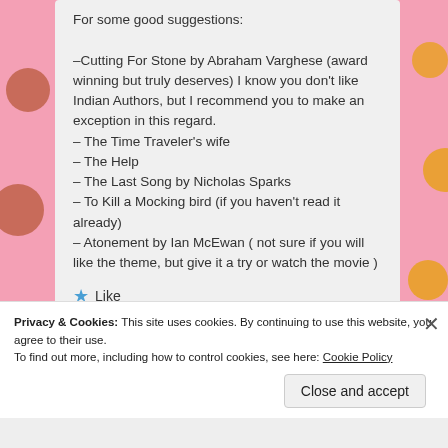For some good suggestions:

–Cutting For Stone by Abraham Varghese (award winning but truly deserves) I know you don't like Indian Authors, but I recommend you to make an exception in this regard.
– The Time Traveler's wife
– The Help
– The Last Song by Nicholas Sparks
– To Kill a Mocking bird (if you haven't read it already)
– Atonement by Ian McEwan ( not sure if you will like the theme, but give it a try or watch the movie )
★ Like
Privacy & Cookies: This site uses cookies. By continuing to use this website, you agree to their use.
To find out more, including how to control cookies, see here: Cookie Policy
Close and accept